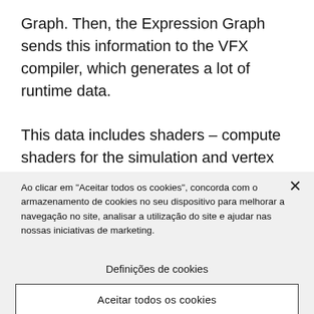Graph. Then, the Expression Graph sends this information to the VFX compiler, which generates a lot of runtime data.

This data includes shaders – compute shaders for the simulation and vertex and pixel shader pairs for rendering particles. It also generates
Ao clicar em "Aceitar todos os cookies", concorda com o armazenamento de cookies no seu dispositivo para melhorar a navegação no site, analisar a utilização do site e ajudar nas nossas iniciativas de marketing.
Definições de cookies
Aceitar todos os cookies